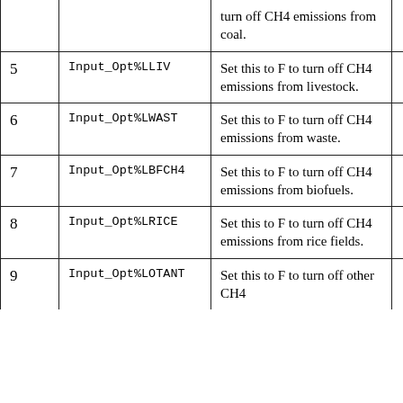|  |  |  |  |
| --- | --- | --- | --- |
|  |  | turn off CH4 emissions from coal. |  |
| 5 | Input_Opt%LLIV | Set this to F to turn off CH4 emissions from livestock. |  |
| 6 | Input_Opt%LWAST | Set this to F to turn off CH4 emissions from waste. |  |
| 7 | Input_Opt%LBFCH4 | Set this to F to turn off CH4 emissions from biofuels. |  |
| 8 | Input_Opt%LRICE | Set this to F to turn off CH4 emissions from rice fields. |  |
| 9 | Input_Opt%LOTANT | Set this to F to turn off other CH4... |  |